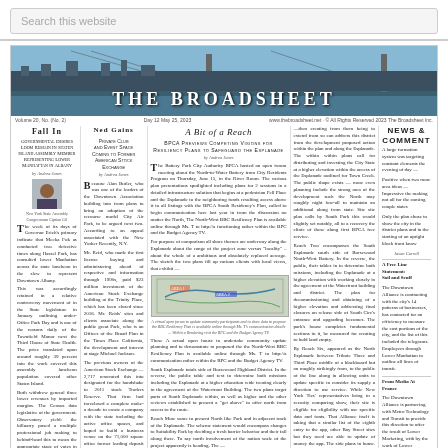Search this website
[Figure (photo): The Broadsheet newspaper banner with bridge and Manhattan skyline photo header]
THE BROADSHEET
Fall In
Governmental Desires Loom Remain In Staten Island Assembly Member Representing Lower Manhattan in Albany
Ned Gains
Private Club and Event Space Coming to Former American Stock Exchange
A Bit of a Reach
BPCA Previews Competing Visions for Resiliency Plans to Safeguard the Esplanade
NEWS & COMMENT